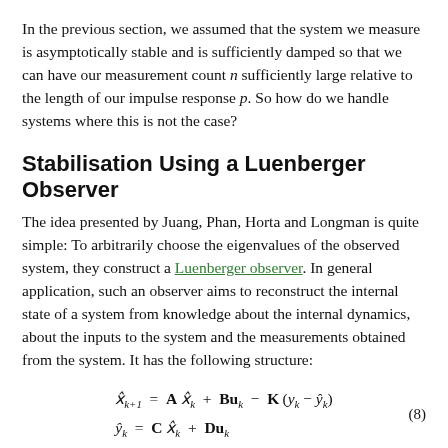In the previous section, we assumed that the system we measure is asymptotically stable and is sufficiently damped so that we can have our measurement count n sufficiently large relative to the length of our impulse response p. So how do we handle systems where this is not the case?
Stabilisation Using a Luenberger Observer
The idea presented by Juang, Phan, Horta and Longman is quite simple: To arbitrarily choose the eigenvalues of the observed system, they construct a Luenberger observer. In general application, such an observer aims to reconstruct the internal state of a system from knowledge about the internal dynamics, about the inputs to the system and the measurements obtained from the system. It has the following structure: